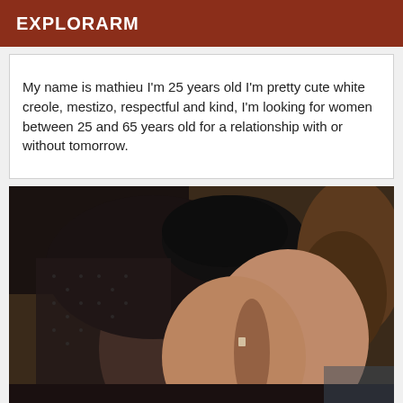EXPLORARM
My name is mathieu I'm 25 years old I'm pretty cute white creole, mestizo, respectful and kind, I'm looking for women between 25 and 65 years old for a relationship with or without tomorrow.
[Figure (photo): Close-up photo of a person wearing black lace lingerie, taken from above at an angle, showing upper body/chest area with brown hair visible.]